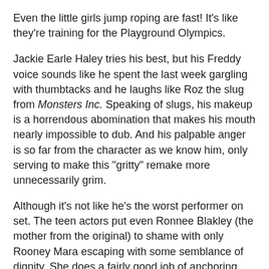Even the little girls jump roping are fast! It's like they're training for the Playground Olympics.
Jackie Earle Haley tries his best, but his Freddy voice sounds like he spent the last week gargling with thumbtacks and he laughs like Roz the slug from Monsters Inc. Speaking of slugs, his makeup is a horrendous abomination that makes his mouth nearly impossible to dub. And his palpable anger is so far from the character as we know him, only serving to make this "gritty" remake more unnecessarily grim.
Although it's not like he's the worst performer on set. The teen actors put even Ronnee Blakley (the mother from the original) to shame with only Rooney Mara escaping with some semblance of dignity. She does a fairly good job of anchoring Nancy in a human register despite the fact that her character is just a meat puppet who is arbitrarily pulled to each new stage of the plot with no motivation whatsoever.
The remake does have a couple good ideas, like the introduction of micropans where Nancy's tired brain shuts off